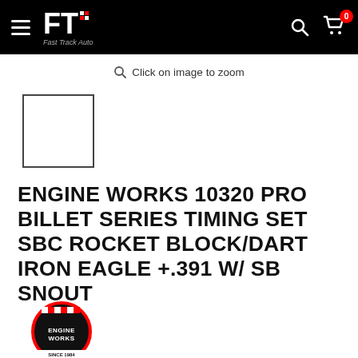Fast Track Auto — navigation header with logo, search and cart icons
Click on image to zoom
[Figure (other): Empty product thumbnail placeholder box with border]
ENGINE WORKS 10320 PRO BILLET SERIES TIMING SET SBC ROCKET BLOCK/DART IRON EAGLE +.391 W/ SB SNOUT
[Figure (logo): Engine Works brand logo — circular badge with checkered flag and race imagery, red and black]